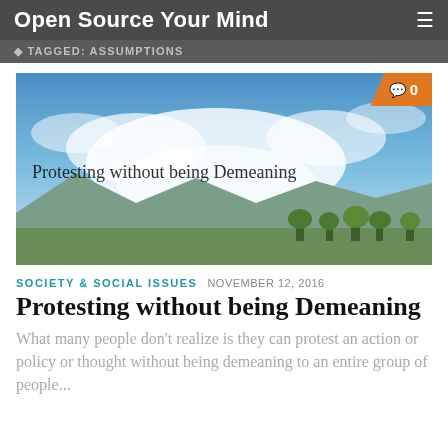Open Source Your Mind
TAGGED: ASSUMPTIONS
[Figure (photo): Landscape photo with blue sky and clouds over green hills, with overlaid text 'Protesting without being Demeaning'. Comment badge showing 0 in top-right corner.]
SOCIETY & SOCIAL ISSUES  NOVEMBER 12, 2016
Protesting without being Demeaning
What many people don't realize is they can protest an action or policy or thought without being demeaning to an entire group of people...